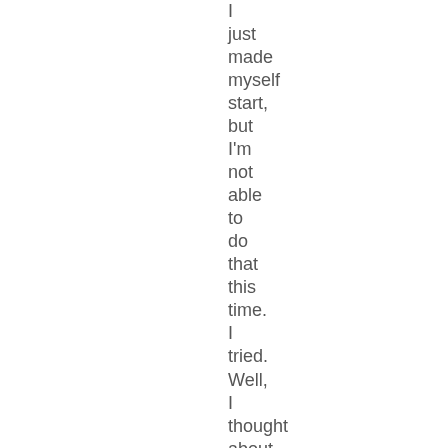I just made myself start, but I'm not able to do that this time. I tried. Well, I thought about trying. I didn't think